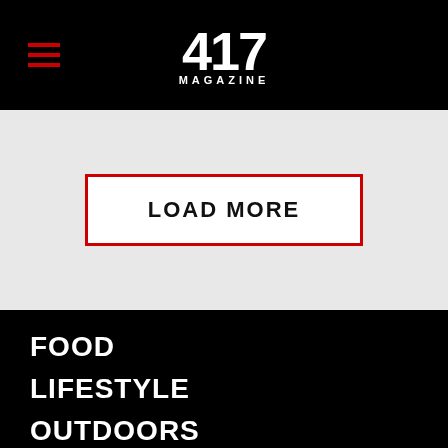417 MAGAZINE
LOAD MORE
FOOD
LIFESTYLE
OUTDOORS
BEST OF 417
PEOPLE
LONGFORM